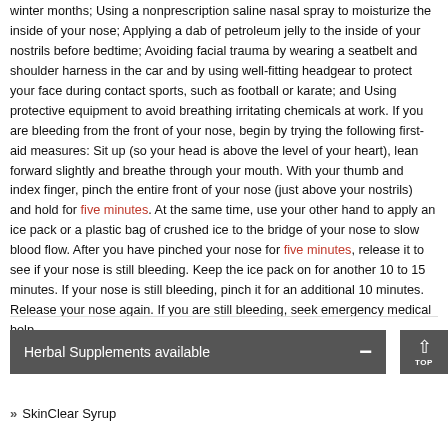winter months; Using a nonprescription saline nasal spray to moisturize the inside of your nose; Applying a dab of petroleum jelly to the inside of your nostrils before bedtime; Avoiding facial trauma by wearing a seatbelt and shoulder harness in the car and by using well-fitting headgear to protect your face during contact sports, such as football or karate; and Using protective equipment to avoid breathing irritating chemicals at work. If you are bleeding from the front of your nose, begin by trying the following first-aid measures: Sit up (so your head is above the level of your heart), lean forward slightly and breathe through your mouth. With your thumb and index finger, pinch the entire front of your nose (just above your nostrils) and hold for five minutes. At the same time, use your other hand to apply an ice pack or a plastic bag of crushed ice to the bridge of your nose to slow blood flow. After you have pinched your nose for five minutes, release it to see if your nose is still bleeding. Keep the ice pack on for another 10 to 15 minutes. If your nose is still bleeding, pinch it for an additional 10 minutes. Release your nose again. If you are still bleeding, seek emergency medical help.
Herbal Supplements available
SkinClear Syrup